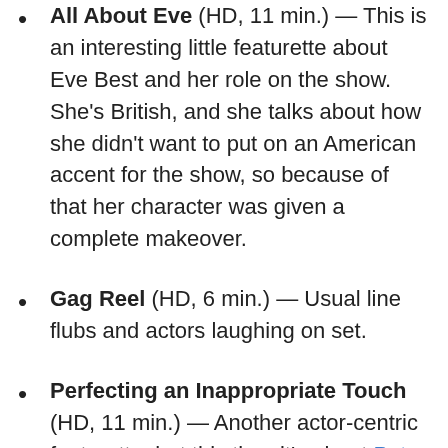All About Eve (HD, 11 min.) — This is an interesting little featurette about Eve Best and her role on the show. She's British, and she talks about how she didn't want to put on an American accent for the show, so because of that her character was given a complete makeover.
Gag Reel (HD, 6 min.) — Usual line flubs and actors laughing on set.
Perfecting an Inappropriate Touch (HD, 11 min.) — Another actor-centric featurette, but this time it's about Peter Facinelli who you'll probably recognize as the father of the Cullen vampire clan in the 'Twilight' series. Here he talks about why he became an actor and about what his...